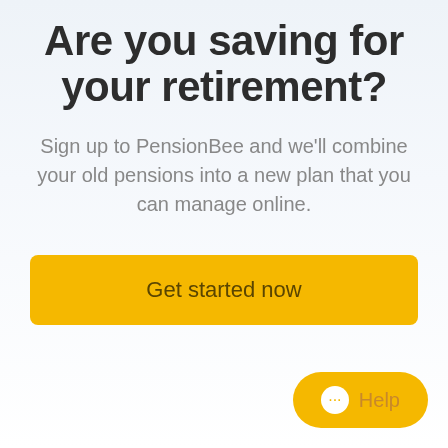Are you saving for your retirement?
Sign up to PensionBee and we'll combine your old pensions into a new plan that you can manage online.
Get started now
Help